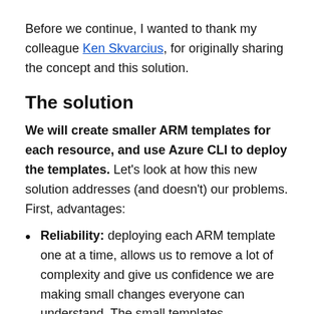Before we continue, I wanted to thank my colleague Ken Skvarcius, for originally sharing the concept and this solution.
The solution
We will create smaller ARM templates for each resource, and use Azure CLI to deploy the templates. Let’s look at how this new solution addresses (and doesn’t) our problems. First, advantages:
Reliability: deploying each ARM template one at a time, allows us to remove a lot of complexity and give us confidence we are making small changes everyone can understand. The small templates